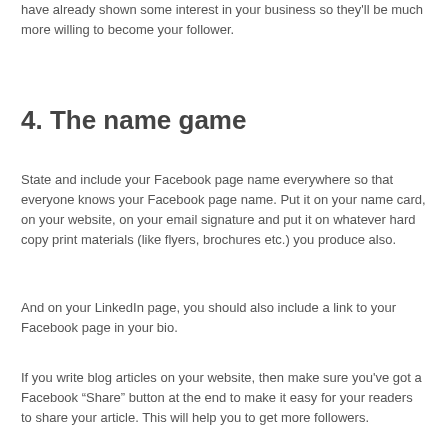have already shown some interest in your business so they'll be much more willing to become your follower.
4. The name game
State and include your Facebook page name everywhere so that everyone knows your Facebook page name. Put it on your name card, on your website, on your email signature and put it on whatever hard copy print materials (like flyers, brochures etc.) you produce also.
And on your LinkedIn page, you should also include a link to your Facebook page in your bio.
If you write blog articles on your website, then make sure you've got a Facebook “Share” button at the end to make it easy for your readers to share your article. This will help you to get more followers.